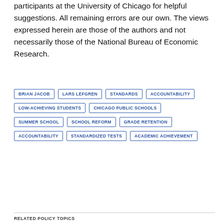participants at the University of Chicago for helpful suggestions. All remaining errors are our own. The views expressed herein are those of the authors and not necessarily those of the National Bureau of Economic Research.
BRIAN JACOB
LARS LEFGREN
STANDARDS
ACCOUNTABILITY
LOW-ACHIEVING STUDENTS
CHICAGO PUBLIC SCHOOLS
SUMMER SCHOOL
SCHOOL REFORM
GRADE RETENTION
ACCOUNTABILITY
STANDARDIZED TESTS
ACADEMIC ACHIEVEMENT
RELATED POLICY TOPICS